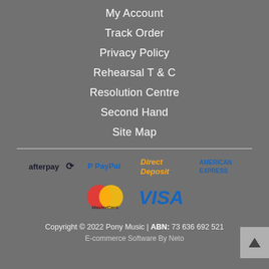My Account
Track Order
Privacy Policy
Rehearsal T & C
Resolution Centre
Second Hand
Site Map
[Figure (logo): Payment method logos: Afterpay, PayPal, Direct Deposit, American Express, MasterCard, Visa]
Copyright © 2022 Pony Music | ABN: 73 636 692 521
E-commerce Software By Neto